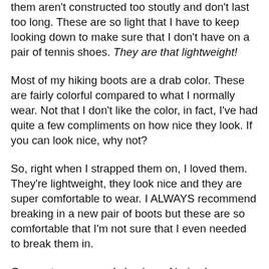them aren't constructed too stoutly and don't last too long. These are so light that I have to keep looking down to make sure that I don't have on a pair of tennis shoes. They are that lightweight!
Most of my hiking boots are a drab color. These are fairly colorful compared to what I normally wear. Not that I don't like the color, in fact, I've had quite a few compliments on how nice they look. If you can look nice, why not?
So, right when I strapped them on, I loved them. They're lightweight, they look nice and they are super comfortable to wear. I ALWAYS recommend breaking in a new pair of boots but these are so comfortable that I'm not sure that I even needed to break them in.
Garmont recommends buying a ½ size large, which I've started doing the last 10 years anyway. Here's why. If you're sliding down mountains you don't want your toes crammed